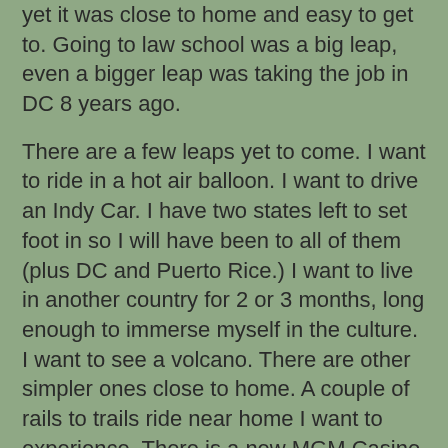yet it was close to home and easy to get to. Going to law school was a big leap, even a bigger leap was taking the job in DC 8 years ago.
There are a few leaps yet to come. I want to ride in a hot air balloon. I want to drive an Indy Car. I have two states left to set foot in so I will have been to all of them (plus DC and Puerto Rice.) I want to live in another country for 2 or 3 months, long enough to immerse myself in the culture. I want to see a volcano. There are other simpler ones close to home. A couple of rails to trails ride near home I want to experience. There is a new MGM Casino just across the rive from home that I want to see. I want to snag an invitation to the White House. I want to join the Bar of the Supreme Court ($200 and a little paperwork.)
The bridges above. The modern bridge is one of the few "S" shaped bridges in the world. The steel